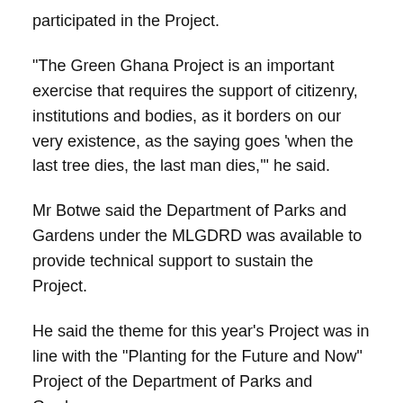participated in the Project.
"The Green Ghana Project is an important exercise that requires the support of citizenry, institutions and bodies, as it borders on our very existence, as the saying goes 'when the last tree dies, the last man dies,'" he said.
Mr Botwe said the Department of Parks and Gardens under the MLGDRD was available to provide technical support to sustain the Project.
He said the theme for this year's Project was in line with the "Planting for the Future and Now" Project of the Department of Parks and Gardens.
Thus, the Ministry was well-positioned to collaborate with other agencies to raise awareness and mobilize support for the achievement of the laudable objectives of the Green